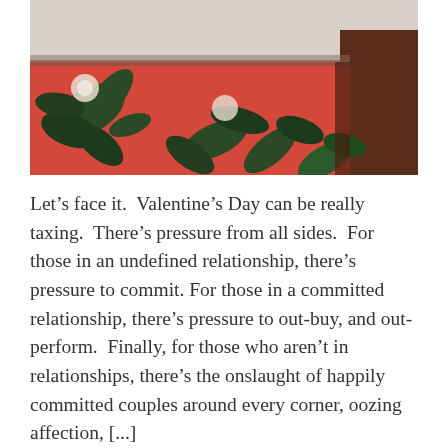[Figure (photo): A photo showing a pink/coral floral fabric or wallpaper with dark green leaf patterns and white flowers, partially covered by what appears to be a white lamp shade or fabric at the top. Dark brown wooden element visible on the right side.]
Let's face it.  Valentine's Day can be really taxing.  There's pressure from all sides.  For those in an undefined relationship, there's pressure to commit. For those in a committed relationship, there's pressure to out-buy, and out-perform.  Finally, for those who aren't in relationships, there's the onslaught of happily committed couples around every corner, oozing affection, [...]